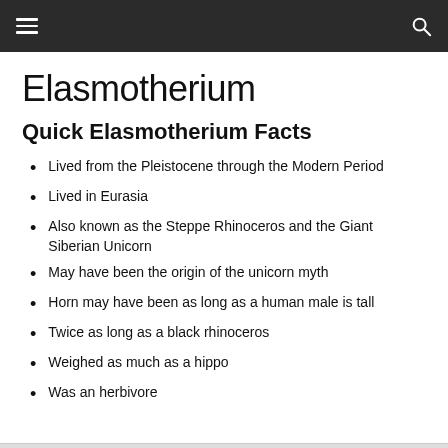Elasmotherium (navigation bar)
Elasmotherium
Quick Elasmotherium Facts
Lived from the Pleistocene through the Modern Period
Lived in Eurasia
Also known as the Steppe Rhinoceros and the Giant Siberian Unicorn
May have been the origin of the unicorn myth
Horn may have been as long as a human male is tall
Twice as long as a black rhinoceros
Weighed as much as a hippo
Was an herbivore